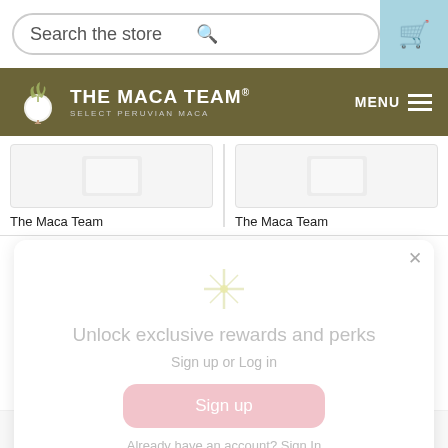Search the store
[Figure (logo): The Maca Team logo with beet icon and text 'THE MACA TEAM® SELECT PERUVIAN MACA']
The Maca Team
The Maca Team
Unlock exclusive rewards and perks
Sign up or Log in
Sign up
Already have an account? Sign In